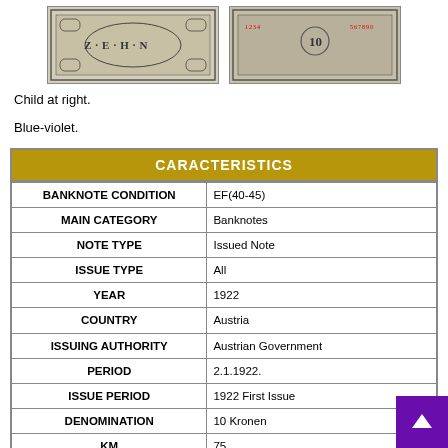[Figure (photo): Two banknote images side by side: left shows front of Austrian 10 Kronen note with 'ZEHN' text, right shows back of the note with '10' denomination]
Child at right.
Blue-violet.
| CARACTERISTICS |  |
| --- | --- |
| BANKNOTE CONDITION | EF(40-45) |
| MAIN CATEGORY | Banknotes |
| NOTE TYPE | Issued Note |
| ISSUE TYPE | All |
| YEAR | 1922 |
| COUNTRY | Austria |
| ISSUING AUTHORITY | Austrian Government |
| PERIOD | 2.1.1922. |
| ISSUE PERIOD | 1922 First Issue |
| DENOMINATION | 10 Kronen |
| KM | 75 |